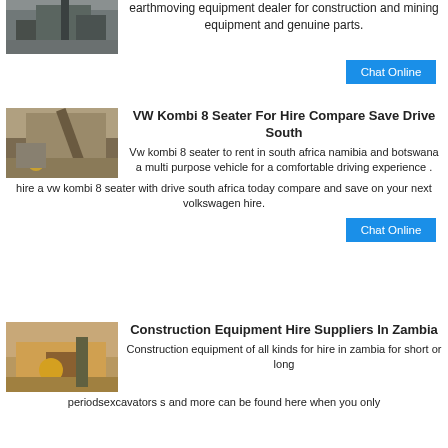[Figure (photo): Industrial/construction site with machinery]
earthmoving equipment dealer for construction and mining equipment and genuine parts.
Chat Online
[Figure (photo): Mining/quarry site with conveyor belt]
VW Kombi 8 Seater For Hire Compare Save Drive South
Vw kombi 8 seater to rent in south africa namibia and botswana a multi purpose vehicle for a comfortable driving experience . hire a vw kombi 8 seater with drive south africa today compare and save on your next volkswagen hire.
Chat Online
[Figure (photo): Construction/mining equipment site with machinery]
Construction Equipment Hire Suppliers In Zambia
Construction equipment of all kinds for hire in zambia for short or long periodsexcavators s and more can be found here when you only